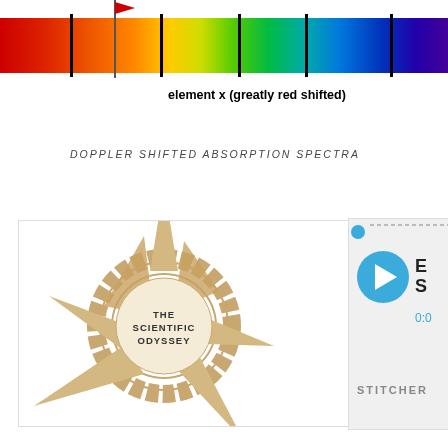[Figure (continuous-plot): Doppler shifted absorption spectra showing a rainbow spectrum (red to violet) with black vertical absorption lines and a vertical marker line. Labels indicate 'element x (greatly red shifted)'.]
DOPPLER SHIFTED ABSORPTION SPECTRA
[Figure (logo): The Scientific Odyssey logo - a geometric star/compass rose design in tan/beige with text 'The Scientific Odyssey' in the center]
[Figure (screenshot): Partial Stitcher podcast player widget showing play button and episode info, partially cut off]